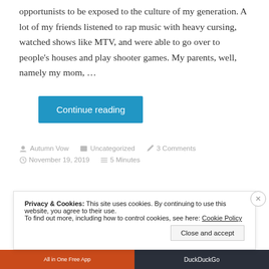opportunists to be exposed to the culture of my generation. A lot of my friends listened to rap music with heavy cursing, watched shows like MTV, and were able to go over to people's houses and play shooter games. My parents, well, namely my mom, …
Continue reading
Autumn Vow   Uncategorized   3 Comments   November 19, 2019   5 Minutes
Privacy & Cookies: This site uses cookies. By continuing to use this website, you agree to their use. To find out more, including how to control cookies, see here: Cookie Policy
Close and accept